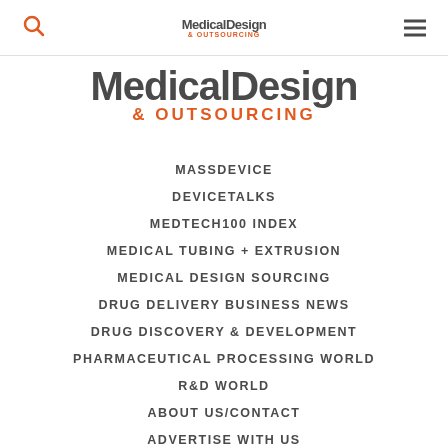Medical Design & Outsourcing - navigation header with search and menu icons
[Figure (logo): Medical Design & OUTSOURCING logo - large version with bold dark text and orange outsourcing text]
MASSDEVICE
DEVICETALKS
MEDTECH100 INDEX
MEDICAL TUBING + EXTRUSION
MEDICAL DESIGN SOURCING
DRUG DELIVERY BUSINESS NEWS
DRUG DISCOVERY & DEVELOPMENT
PHARMACEUTICAL PROCESSING WORLD
R&D WORLD
ABOUT US/CONTACT
ADVERTISE WITH US